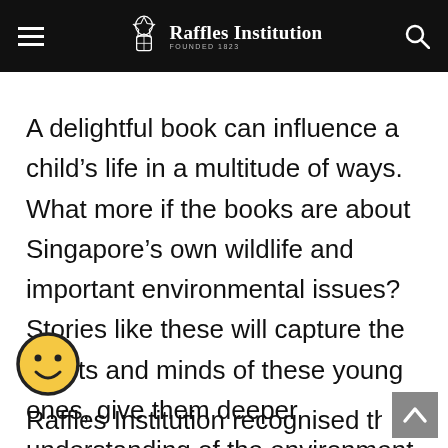Raffles Institution FOUNDED 1823
A delightful book can influence a child’s life in a multitude of ways. What more if the books are about Singapore’s own wildlife and important environmental issues? Stories like these will capture the hearts and minds of these young ones, give them deeper understanding of the environment around them, strengthen their values and inspire them to explore further and possibly take action!
Raffles Institution recognised the lack of good,